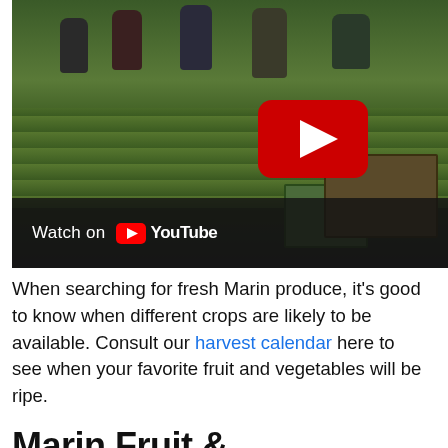[Figure (photo): Farm workers harvesting crops in a green field, with cardboard boxes visible in the foreground. A YouTube play button overlay is visible in the upper right of the image, and a 'Watch on YouTube' bar appears at the bottom of the image.]
When searching for fresh Marin produce, it's good to know when different crops are likely to be available. Consult our harvest calendar here to see when your favorite fruit and vegetables will be ripe.
Marin Fruit &